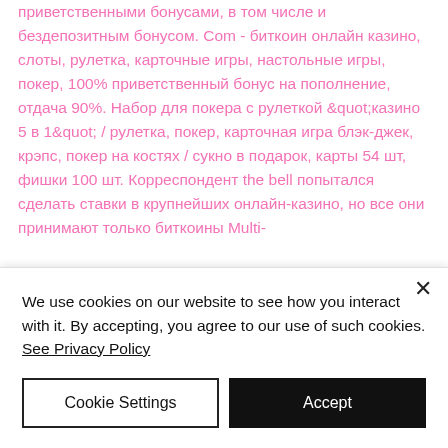приветственными бонусами, в том числе и бездепозитным бонусом. Com - биткоин онлайн казино, слоты, рулетка, карточные игры, настольные игры, покер, 100% приветственный бонус на пополнение, отдача 90%. Набор для покера с рулеткой &quot;казино 5 в 1&quot; / рулетка, покер, карточная игра блэк-джек, крэпс, покер на костях / сукно в подарок, карты 54 шт, фишки 100 шт. Корреспондент the bell попытался сделать ставки в крупнейших онлайн-казино, но все они принимают только биткоины Multi-
We use cookies on our website to see how you interact with it. By accepting, you agree to our use of such cookies. See Privacy Policy